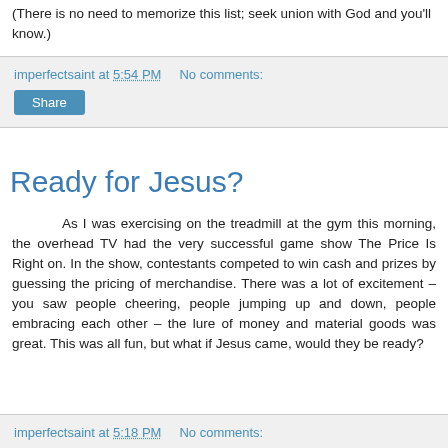(There is no need to memorize this list; seek union with God and you'll know.)
imperfectsaint at 5:54 PM   No comments:
Ready for Jesus?
As I was exercising on the treadmill at the gym this morning, the overhead TV had the very successful game show The Price Is Right on. In the show, contestants competed to win cash and prizes by guessing the pricing of merchandise. There was a lot of excitement – you saw people cheering, people jumping up and down, people embracing each other – the lure of money and material goods was great. This was all fun, but what if Jesus came, would they be ready?
imperfectsaint at 5:18 PM   No comments: